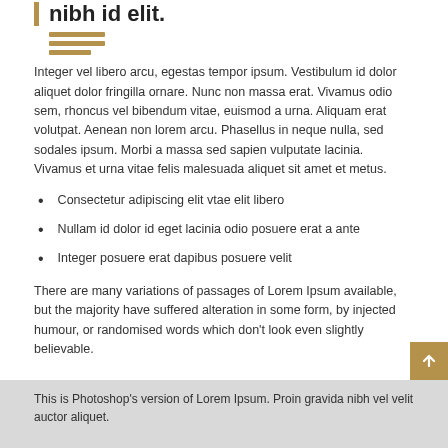nibh id elit.
[Figure (illustration): Three horizontal golden/tan decorative lines of decreasing width, used as a decorative separator or icon element.]
Integer vel libero arcu, egestas tempor ipsum. Vestibulum id dolor aliquet dolor fringilla ornare. Nunc non massa erat. Vivamus odio sem, rhoncus vel bibendum vitae, euismod a urna. Aliquam erat volutpat. Aenean non lorem arcu. Phasellus in neque nulla, sed sodales ipsum. Morbi a massa sed sapien vulputate lacinia. Vivamus et urna vitae felis malesuada aliquet sit amet et metus.
Consectetur adipiscing elit vtae elit libero
Nullam id dolor id eget lacinia odio posuere erat a ante
Integer posuere erat dapibus posuere velit
There are many variations of passages of Lorem Ipsum available, but the majority have suffered alteration in some form, by injected humour, or randomised words which don't look even slightly believable.
This is Photoshop's version of Lorem Ipsum. Proin gravida nibh vel velit auctor aliquet.